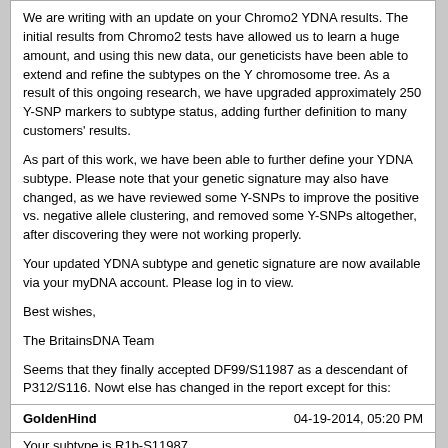We are writing with an update on your Chromo2 YDNA results. The initial results from Chromo2 tests have allowed us to learn a huge amount, and using this new data, our geneticists have been able to extend and refine the subtypes on the Y chromosome tree. As a result of this ongoing research, we have upgraded approximately 250 Y-SNP markers to subtype status, adding further definition to many customers' results.
As part of this work, we have been able to further define your YDNA subtype. Please note that your genetic signature may also have changed, as we have reviewed some Y-SNPs to improve the positive vs. negative allele clustering, and removed some Y-SNPs altogether, after discovering they were not working properly.
Your updated YDNA subtype and genetic signature are now available via your myDNA account. Please log in to view.
Best wishes,
The BritainsDNA Team
Seems that they finally accepted DF99/S11987 as a descendant of P312/S116. Nowt else has changed in the report except for this:
Subtype
Your subtype is R1b-S11987
Your S11987 subtype was recently discovered using Chromo2, so its distribution is not yet understood. You may carry markers that further define your subtype, but do not yet appear on our tree. You will find these in your genetic signature.
All the Regional Distribution ect. is reflective of the R-S116* result as opposed to the S11987 result.
GoldenHind
04-19-2014, 05:20 PM